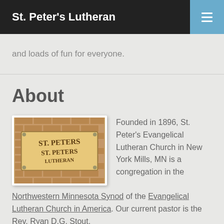St. Peter's Lutheran
and loads of fun for everyone.
About
[Figure (photo): Brick wall sign reading ST. PETERS LUTHERAN]
Founded in 1896, St. Peter's Evangelical Lutheran Church in New York Mills, MN is a congregation in the Northwestern Minnesota Synod of the Evangelical Lutheran Church in America. Our current pastor is the Rev. Ryan D.G. Stout.